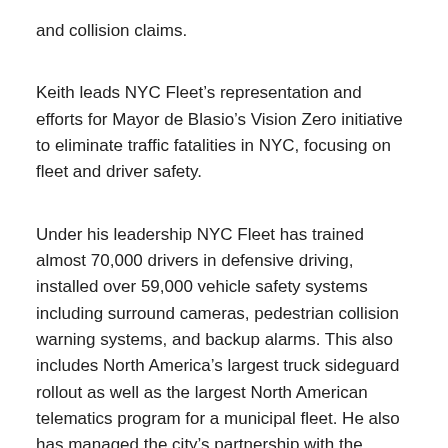and collision claims.
Keith leads NYC Fleet’s representation and efforts for Mayor de Blasio’s Vision Zero initiative to eliminate traffic fatalities in NYC, focusing on fleet and driver safety.
Under his leadership NYC Fleet has trained almost 70,000 drivers in defensive driving, installed over 59,000 vehicle safety systems including surround cameras, pedestrian collision warning systems, and backup alarms. This also includes North America’s largest truck sideguard rollout as well as the largest North American telematics program for a municipal fleet. He also has managed the city’s partnership with the federal DOT